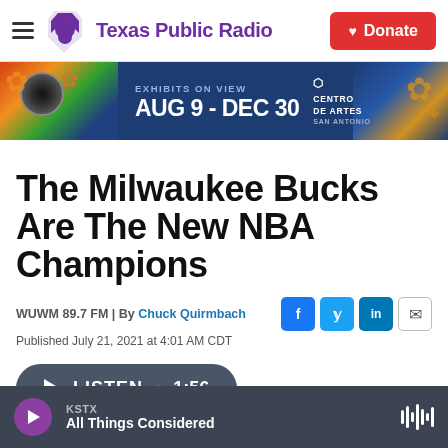Texas Public Radio — Donate
[Figure (other): Advertisement banner: EXHIBITS ON VIEW AUG 9 - DEC 30, Centro de Artes San Antonio]
The Milwaukee Bucks Are The New NBA Champions
WUWM 89.7 FM | By Chuck Quirmbach
Published July 21, 2021 at 4:01 AM CDT
LISTEN • 1:56
KSTX — All Things Considered